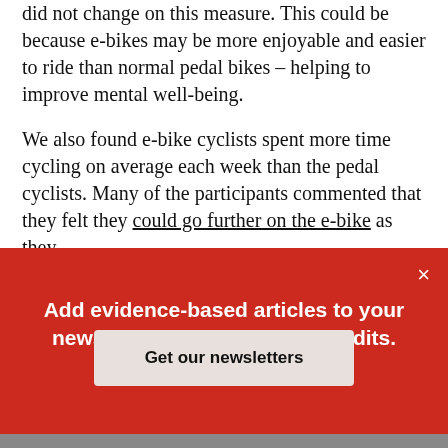did not change on this measure. This could be because e-bikes may be more enjoyable and easier to ride than normal pedal bikes – helping to improve mental well-being.
We also found e-bike cyclists spent more time cycling on average each week than the pedal cyclists. Many of the participants commented that they felt they could go further on the e-bike as they
[Figure (screenshot): Red modal overlay with white close button (×), bold white text reading 'Add evidence-based articles to your news diet. No uninformed pundits. Just experts', and a light grey button labeled 'Get our newsletters'.]